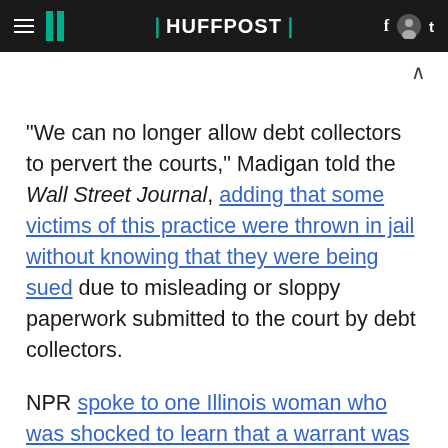HUFFPOST
"We can no longer allow debt collectors to pervert the courts," Madigan told the Wall Street Journal, adding that some victims of this practice were thrown in jail without knowing that they were being sued due to misleading or sloppy paperwork submitted to the court by debt collectors.
NPR spoke to one Illinois woman who was shocked to learn that a warrant was out for her arrest: